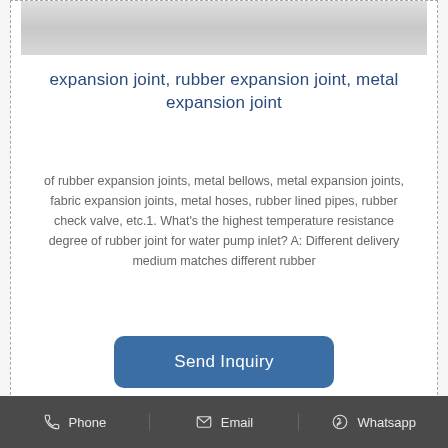[Figure (photo): Partial view of a white plate or bowl at top of card, cropped]
expansion joint, rubber expansion joint, metal expansion joint
of rubber expansion joints, metal bellows, metal expansion joints, fabric expansion joints, metal hoses, rubber lined pipes, rubber check valve, etc.1. What’s the highest temperature resistance degree of rubber joint for water pump inlet? A: Different delivery medium matches different rubber
[Figure (other): Send Inquiry button — rounded blue rectangle with white text]
[Figure (photo): Close-up photo of a pile of beige/tan powder or granular material on a white surface]
Phone   Email   Whatsapp